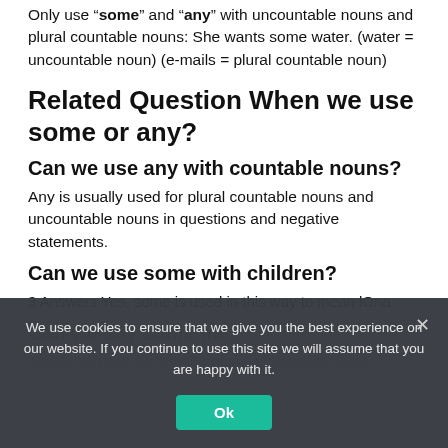Only use "some" and "any" with uncountable nouns and plural countable nouns: She wants some water. (water = uncountable noun) (e-mails = plural countable noun)
Related Question When we use some or any?
Can we use any with countable nouns?
Any is usually used for plural countable nouns and uncountable nouns in questions and negative statements.
Can we use some with children?
3 Answers Yes, some is used in this way to mean lOna
We use cookies to ensure that we give you the best experience on our website. If you continue to use this site we will assume that you are happy with it.
Can we say some me...
'Some' can also be used to answer questions abou...